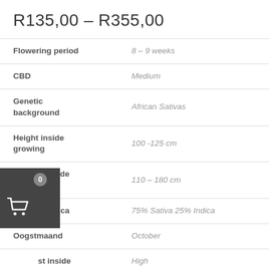R135,00 – R355,00
| Flowering period | 8 – 9 weeks |
| CBD | Medium |
| Genetic background | African Sativas |
| Height inside growing | 100 -125 cm |
| Height outside growing | 110 – 180 cm |
| Sativa – Indica | 75% Sativa 25% Indica |
| Oogstmaand | October |
| Harvest inside | High |
| Harvest outside | High |